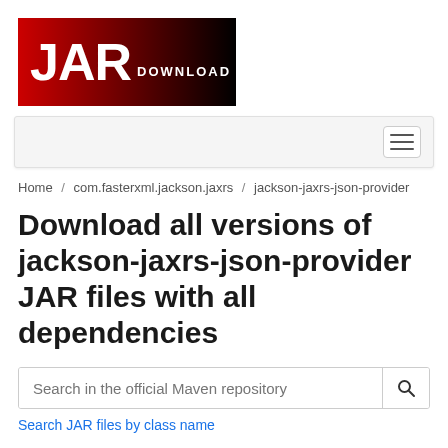[Figure (logo): JAR DOWNLOAD logo with white bold text on red-to-black gradient background]
[Figure (screenshot): Navigation bar with hamburger menu icon on the right]
Home / com.fasterxml.jackson.jaxrs / jackson-jaxrs-json-provider
Download all versions of jackson-jaxrs-json-provider JAR files with all dependencies
Search in the official Maven repository
Search JAR files by class name